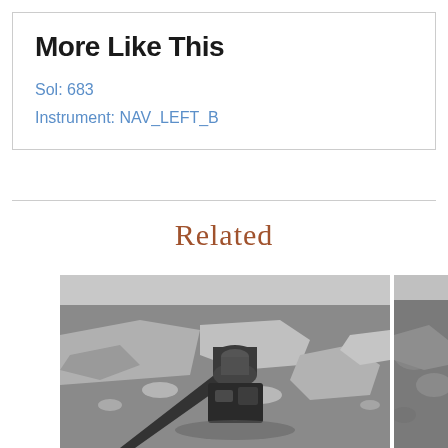More Like This
Sol: 683
Instrument: NAV_LEFT_B
Related
[Figure (photo): Black and white Mars rover image showing rocky Martian surface with rover arm/instrument in foreground]
[Figure (photo): Partially visible black and white Mars surface image (cropped at right edge)]